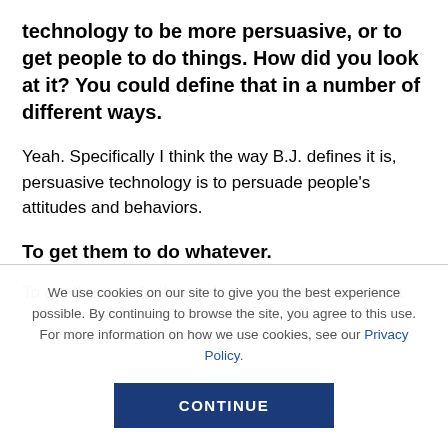technology to be more persuasive, or to get people to do things. How did you look at it? You could define that in a number of different ways.
Yeah. Specifically I think the way B.J. defines it is, persuasive technology is to persuade people's attitudes and behaviors.
To get them to do whatever.
To get them to do things. In your product, you want
We use cookies on our site to give you the best experience possible. By continuing to browse the site, you agree to this use. For more information on how we use cookies, see our Privacy Policy.
CONTINUE